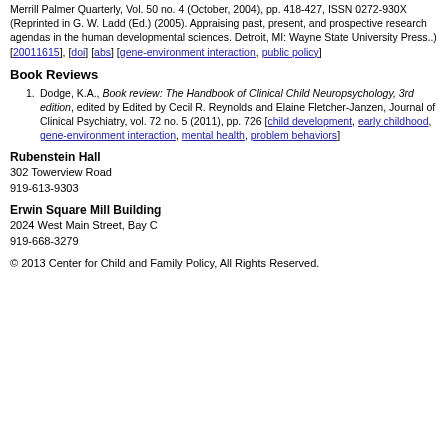Merrill Palmer Quarterly, Vol. 50 no. 4 (October, 2004), pp. 418-427, ISSN 0272-930X (Reprinted in G. W. Ladd (Ed.) (2005). Appraising past, present, and prospective research agendas in the human developmental sciences. Detroit, MI: Wayne State University Press..) [20011615], [doi] [abs] [gene-environment interaction, public policy]
Book Reviews
Dodge, K.A., Book review: The Handbook of Clinical Child Neuropsychology, 3rd edition, edited by Edited by Cecil R. Reynolds and Elaine Fletcher-Janzen, Journal of Clinical Psychiatry, vol. 72 no. 5 (2011), pp. 726 [child development, early childhood, gene-environment interaction, mental health, problem behaviors]
Rubenstein Hall
302 Towerview Road
919-613-9303
Erwin Square Mill Building
2024 West Main Street, Bay C
919-668-3279
© 2013 Center for Child and Family Policy, All Rights Reserved.